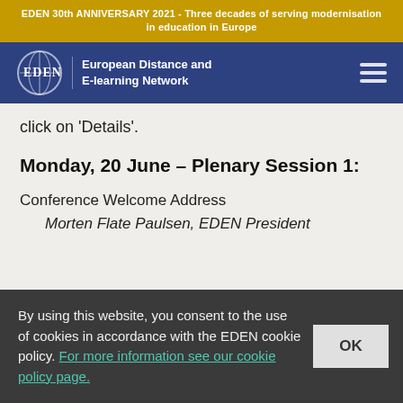EDEN 30th ANNIVERSARY 2021 - Three decades of serving modernisation in education in Europe
[Figure (logo): EDEN European Distance and E-learning Network logo with globe icon on blue navigation bar]
click on 'Details'.
Monday, 20 June – Plenary Session 1:
Conference Welcome Address
Morten Flate Paulsen, EDEN President
By using this website, you consent to the use of cookies in accordance with the EDEN cookie policy. For more information see our cookie policy page.